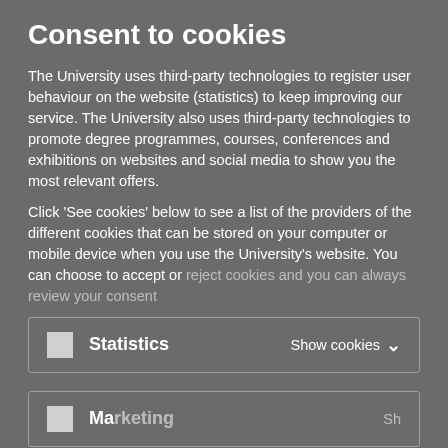Consent to cookies
The University uses third-party technologies to register user behaviour on the website (statistics) to keep improving our service. The University also uses third-party technologies to promote degree programmes, courses, conferences and exhibitions on websites and social media to show you the most relevant offers.
Click 'See cookies' below to see a list of the providers of the different cookies that can be stored on your computer or mobile device when you use the University's website. You can choose to accept or reject cookies and you can always review your consent
Statistics   Show cookies
Marketing   Show cookies